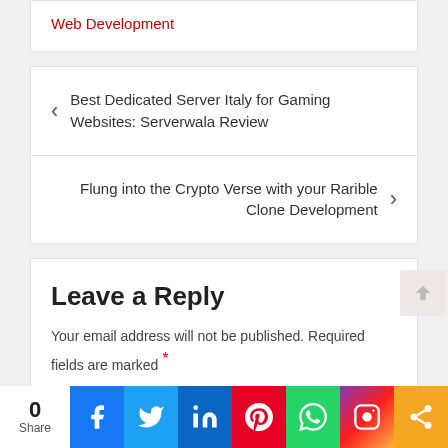Web Development
Best Dedicated Server Italy for Gaming Websites: Serverwala Review
Flung into the Crypto Verse with your Rarible Clone Development
Leave a Reply
Your email address will not be published. Required fields are marked *
Comment
0 Share